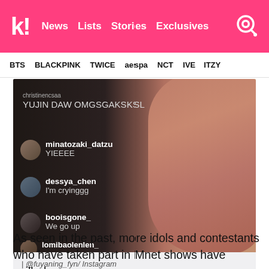k! News Lists Stories Exclusives
BTS BLACKPINK TWICE aespa NCT IVE ITZY
[Figure (screenshot): Instagram Live screenshot showing fan comments: christinencsaa: YUJIN DAW OMGSGAKSKSL, minatozaki_datzu: YIEEEE, dessya_chen: I'm cryinggg, booisgone_: We go up, lomibaolenlen_]
| @fuyaning_fyn/ Instagram
As seen in the past, more idols and contestants who have taken part in Mnet shows have spilled